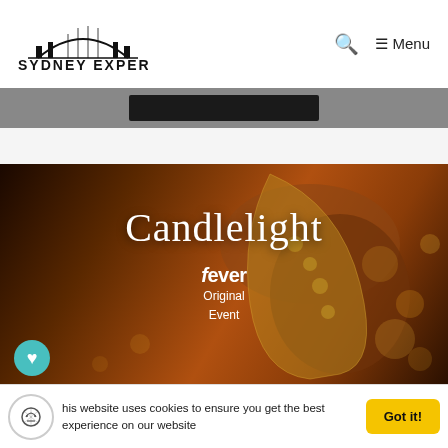[Figure (logo): Sydney Expert logo with Harbour Bridge outline above text SYDNEY EXPERT]
🔍  ≡ Menu
[Figure (photo): Dark banner strip with a dark rectangular element in the center]
[Figure (photo): Close-up photo of a saxophone being played, warm amber tones with bokeh candlelight in background. Text overlay reads 'Candlelight' in serif font, with 'fever Original Event' below.]
This website uses cookies to ensure you get the best experience on our website
Got it!